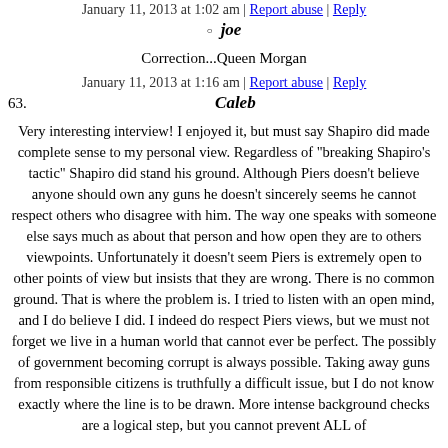January 11, 2013 at 1:02 am | Report abuse | Reply
joe
Correction...Queen Morgan
January 11, 2013 at 1:16 am | Report abuse | Reply
63. Caleb
Very interesting interview! I enjoyed it, but must say Shapiro did made complete sense to my personal view. Regardless of "breaking Shapiro's tactic" Shapiro did stand his ground. Although Piers doesn't believe anyone should own any guns he doesn't sincerely seems he cannot respect others who disagree with him. The way one speaks with someone else says much as about that person and how open they are to others viewpoints. Unfortunately it doesn't seem Piers is extremely open to other points of view but insists that they are wrong. There is no common ground. That is where the problem is. I tried to listen with an open mind, and I do believe I did. I indeed do respect Piers views, but we must not forget we live in a human world that cannot ever be perfect. The possibly of government becoming corrupt is always possible. Taking away guns from responsible citizens is truthfully a difficult issue, but I do not know exactly where the line is to be drawn. More intense background checks are a logical step, but you cannot prevent ALL of